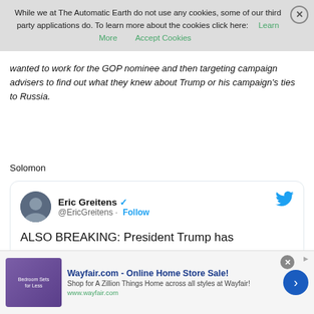While we at The Automatic Earth do not use any cookies, some of our third party applications do. To learn more about the cookies click here: Learn More  Accept Cookies
wanted to work for the GOP nominee and then targeting campaign advisers to find out what they knew about Trump or his campaign's ties to Russia.
Solomon
[Figure (screenshot): Tweet by Eric Greitens (@EricGreitens) with verified badge and Follow link. Tweet text: ALSO BREAKING: President Trump has declassified large numbers of documents related to Russia Collusion hoax.]
[Figure (infographic): Advertisement banner for Wayfair.com - Online Home Store Sale! with thumbnail image of bedroom sets.]